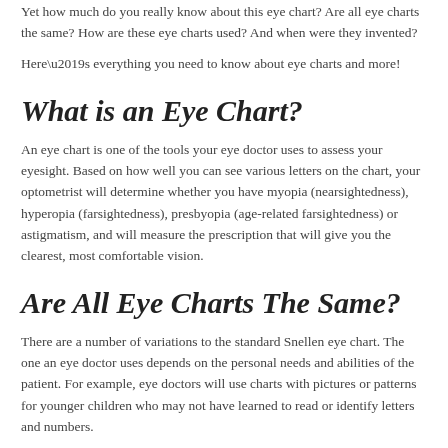Yet how much do you really know about this eye chart? Are all eye charts the same? How are these eye charts used? And when were they invented?
Here’s everything you need to know about eye charts and more!
What is an Eye Chart?
An eye chart is one of the tools your eye doctor uses to assess your eyesight. Based on how well you can see various letters on the chart, your optometrist will determine whether you have myopia (nearsightedness), hyperopia (farsightedness), presbyopia (age-related farsightedness) or astigmatism, and will measure the prescription that will give you the clearest, most comfortable vision.
Are All Eye Charts The Same?
There are a number of variations to the standard Snellen eye chart. The one an eye doctor uses depends on the personal needs and abilities of the patient. For example, eye doctors will use charts with pictures or patterns for younger children who may not have learned to read or identify letters and numbers.